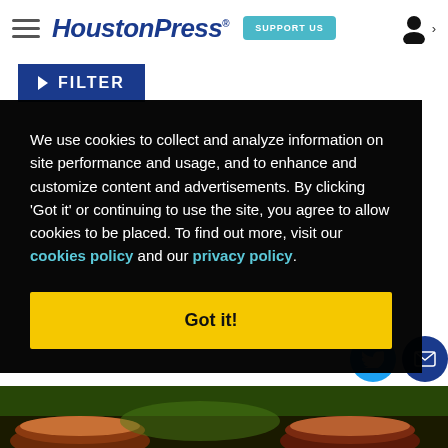HoustonPress — SUPPORT US
▶ FILTER
We use cookies to collect and analyze information on site performance and usage, and to enhance and customize content and advertisements. By clicking 'Got it' or continuing to use the site, you agree to allow cookies to be placed. To find out more, visit our cookies policy and our privacy policy.
Got it!
[Figure (photo): Partial view of food bowls at the bottom of the page]